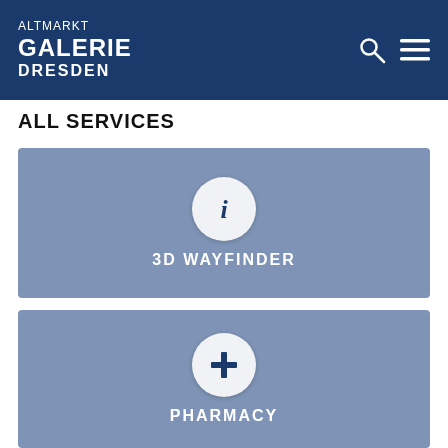[Figure (logo): Altmarkt Galerie Dresden logo — white text on dark navy blue header bar with search and hamburger menu icons]
ALL SERVICES
[Figure (infographic): Service card with info 'i' icon circle and label '3D WAYFINDER' on steel-blue background]
[Figure (infographic): Service card with medical cross '+' icon circle and label 'PHARMACY' on steel-blue background]